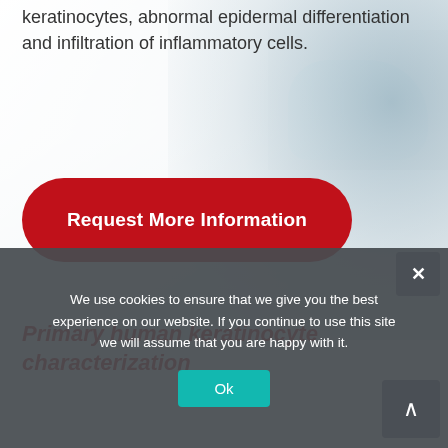keratinocytes, abnormal epidermal differentiation and infiltration of inflammatory cells.
[Figure (photo): Laboratory background photo showing researcher with blue gloves and microscope equipment, faded/washed out]
Request More Information
Primary human keratinocyte characterization
We use cookies to ensure that we give you the best experience on our website. If you continue to use this site we will assume that you are happy with it.